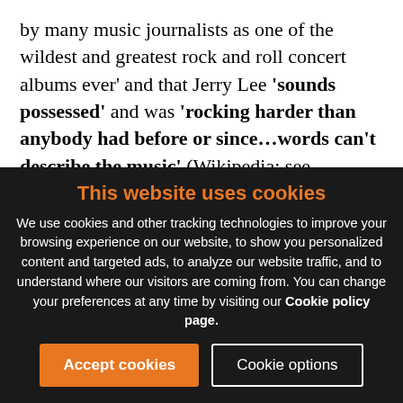by many music journalists as one of the wildest and greatest rock and roll concert albums ever' and that Jerry Lee 'sounds possessed' and was 'rocking harder than anybody had before or since…words can't describe the music' (Wikipedia; see <www.wtmsources.com/125>). Jerry Lee's performances were just drenched in the excitement of breaking free from the dungeon of our species' tortured condition. In fact, my vision
This website uses cookies
We use cookies and other tracking technologies to improve your browsing experience on our website, to show you personalized content and targeted ads, to analyze our website traffic, and to understand where our visitors are coming from. You can change your preferences at any time by visiting our Cookie policy page.